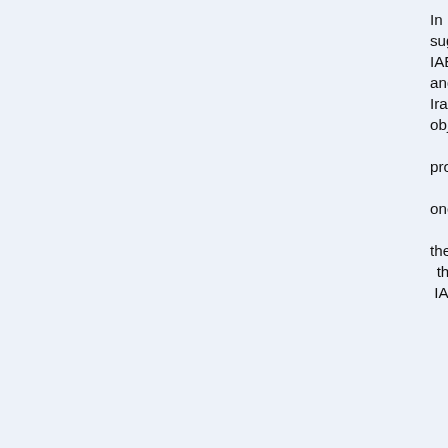In February 2005, Iran suggested to the EU3 to ask the IAEA to develop technical, legal and monitoring modalities for Iran's enrichment program as objective guarantees to ensure that Iran's nuclear program would remain exclusively for peaceful purposes. While one member of EU3 accepted the suggestion, unfortunately the lack of consensus among the EU3 prevented resort to the IAEA as an authoritative